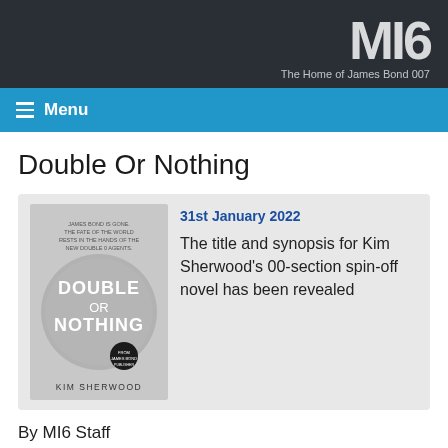MI6 - The Home of James Bond 007
Double Or Nothing
[Figure (illustration): Book cover of 'Double Or Nothing' by Kim Sherwood with gray and silver circular design]
31st January 2022
The title and synopsis for Kim Sherwood's 00-section spin-off novel has been revealed
By MI6 Staff
Share The Story